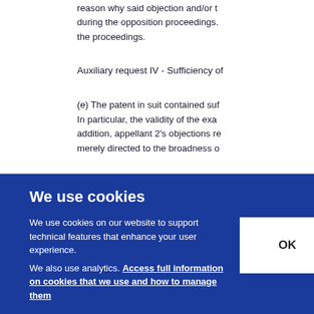reason why said objection and/or t... during the opposition proceedings. the proceedings.
Auxiliary request IV - Sufficiency of
(e) The patent in suit contained suf... In particular, the validity of the exa... addition, appellant 2's objections re... merely directed to the broadness o...
[Figure (screenshot): Cookie consent overlay with blue background. Title: 'We use cookies'. Body text: 'We use cookies on our website to support technical features that enhance your user experience. We also use analytics. Access full information on cookies that we use and how to manage them'. OK button on the right.]